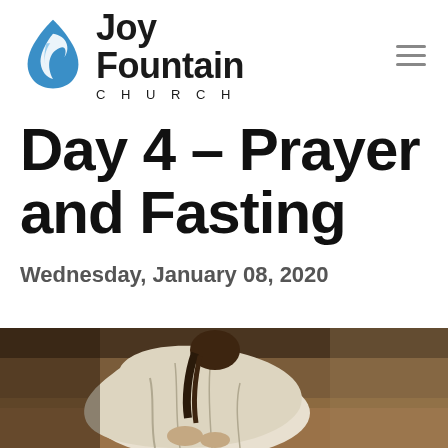[Figure (logo): Joy Fountain Church logo with blue water drop flame icon and bold text reading Joy Fountain CHURCH]
Day 4 – Prayer and Fasting
Wednesday, January 08, 2020
[Figure (photo): Person in white robes sitting in a prayer or meditation pose, viewed from behind/side, on a sandy or earthy surface]